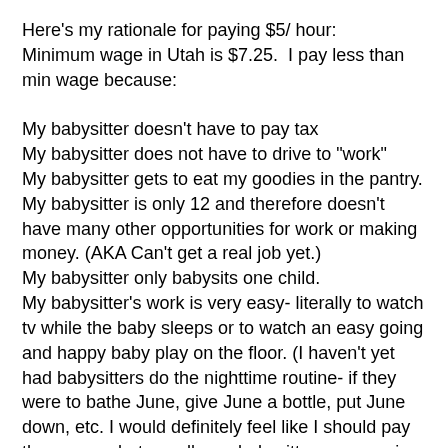Here's my rationale for paying $5/ hour:
Minimum wage in Utah is $7.25.  I pay less than min wage because:

My babysitter doesn't have to pay tax
My babysitter does not have to drive to "work"
My babysitter gets to eat my goodies in the pantry.
My babysitter is only 12 and therefore doesn't have many other opportunities for work or making money. (AKA Can't get a real job yet.)
My babysitter only babysits one child.
My babysitter's work is very easy- literally to watch tv while the baby sleeps or to watch an easy going and happy baby play on the floor. (I haven't yet had babysitters do the nighttime routine- if they were to bathe June, give June a bottle, put June down, etc. I would definitely feel like I should pay them more, but usually my babysitters are coming over while I run to do an errand or while Greg and I sneak off to a matinee.)

  Now... there have been a couple of times where Greg and I have gotten a babysitter paid in the nighttime hours...